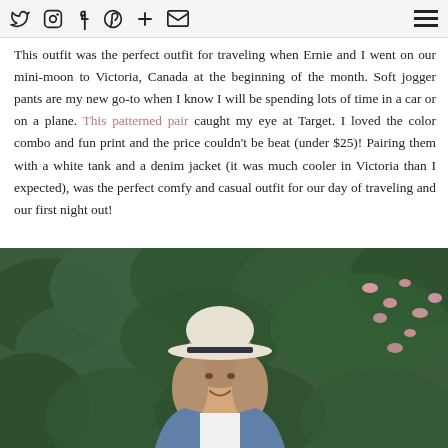Social media navigation icons and hamburger menu
This outfit was the perfect outfit for traveling when Ernie and I went on our mini-moon to Victoria, Canada at the beginning of the month. Soft jogger pants are my new go-to when I know I will be spending lots of time in a car or on a plane. This patterned pair caught my eye at Target. I loved the color combo and fun print and the price couldn't be beat (under $25)! Pairing them with a white tank and a denim jacket (it was much cooler in Victoria than I expected), was the perfect comfy and casual outfit for our day of traveling and our first night out!
[Figure (photo): A woman wearing a white panama hat and denim jacket, smiling, in front of lush green bushes with pink flowers]